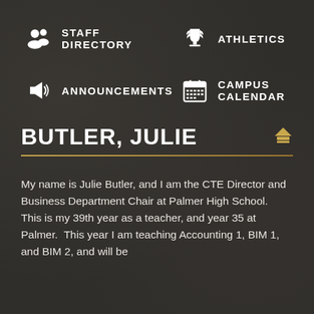[Figure (infographic): Navigation menu with four items in a 2x2 grid: Staff Directory (people icon), Athletics (trophy icon), Announcements (megaphone icon), Campus Calendar (calendar icon)]
BUTLER, JULIE
My name is Julie Butler, and I am the CTE Director and Business Department Chair at Palmer High School.  This is my 39th year as a teacher, and year 35 at Palmer.  This year I am teaching Accounting 1, BIM 1, and BIM 2, and will be